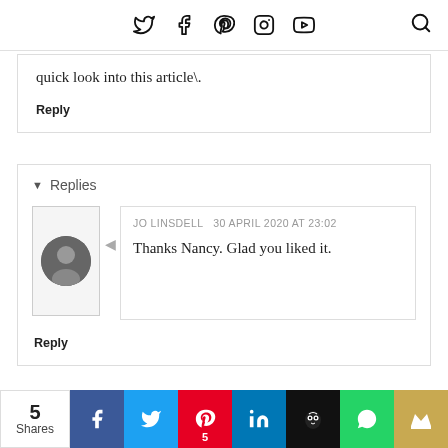Navigation bar with social icons (Twitter, Facebook, Pinterest, Instagram, YouTube) and search icon
quick look into this article\.
Reply
▾  Replies
JO LINSDELL  30 APRIL 2020 AT 23:02
Thanks Nancy. Glad you liked it.
Reply
HAZEL  25 JUNE 2020 AT 15:18
5 Shares | Facebook | Twitter | Pinterest 5 | LinkedIn | Hootsuite | WhatsApp | Crown